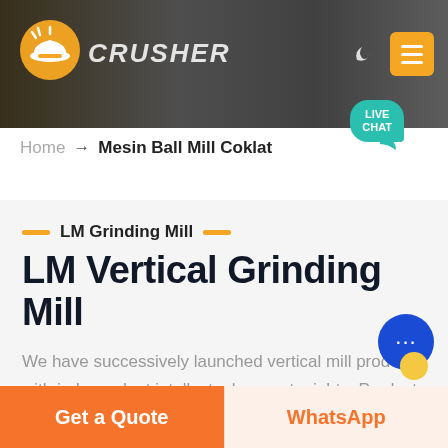[Figure (screenshot): Website header banner with dark/grey background, company logo (yellow hard hat icon), CRUSHER text, moon icon and orange menu button on right]
[Figure (illustration): Teal live chat speech bubble with text LIVE CHAT]
Home → Mesin Ball Mill Coklat
LM Grinding Mill
LM Vertical Grinding Mill
We have successively launched vertical mill products with independent intellectual property rights. Product Features: Integration of multiple functions, more stable and reliable, production and more excellent capacity
Get a Quote
WhatsApp